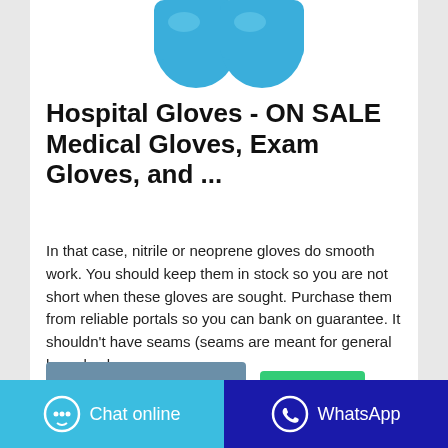[Figure (photo): Partial photo of blue medical/nitrile gloves on a white background, showing the wrist/cuff area of two gloves]
Hospital Gloves - ON SALE Medical Gloves, Exam Gloves, and ...
In that case, nitrile or neoprene gloves do smooth work. You should keep them in stock so you are not short when these gloves are sought. Purchase them from reliable portals so you can bank on guarantee. It shouldn't have seams (seams are meant for general homely gloves…
Contact the manufacturer
WhatsApp
Chat online   WhatsApp